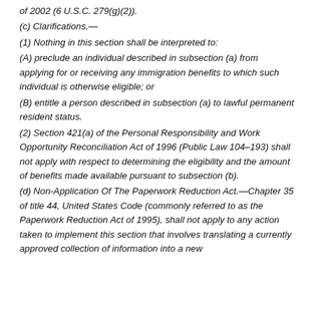of 2002 (6 U.S.C. 279(g)(2)).
(c) Clarifications.—
(1) Nothing in this section shall be interpreted to:
(A) preclude an individual described in subsection (a) from applying for or receiving any immigration benefits to which such individual is otherwise eligible; or
(B) entitle a person described in subsection (a) to lawful permanent resident status.
(2) Section 421(a) of the Personal Responsibility and Work Opportunity Reconciliation Act of 1996 (Public Law 104–193) shall not apply with respect to determining the eligibility and the amount of benefits made available pursuant to subsection (b).
(d) Non-Application Of The Paperwork Reduction Act.—Chapter 35 of title 44, United States Code (commonly referred to as the Paperwork Reduction Act of 1995), shall not apply to any action taken to implement this section that involves translating a currently approved collection of information into a new